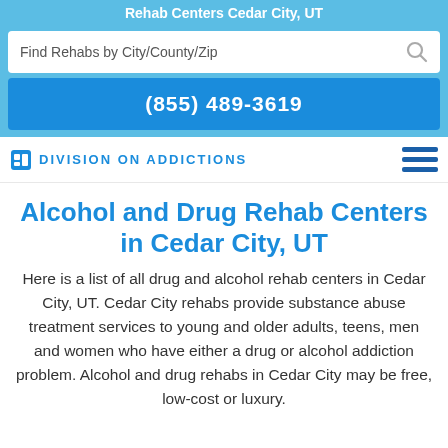Rehab Centers Cedar City, UT
Find Rehabs by City/County/Zip
(855) 489-3619
[Figure (logo): Division On Addictions logo with icon and hamburger menu]
Alcohol and Drug Rehab Centers in Cedar City, UT
Here is a list of all drug and alcohol rehab centers in Cedar City, UT. Cedar City rehabs provide substance abuse treatment services to young and older adults, teens, men and women who have either a drug or alcohol addiction problem. Alcohol and drug rehabs in Cedar City may be free, low-cost or luxury.